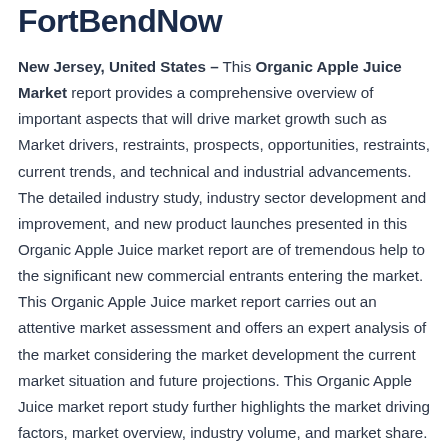FortBendNow
New Jersey, United States – This Organic Apple Juice Market report provides a comprehensive overview of important aspects that will drive market growth such as Market drivers, restraints, prospects, opportunities, restraints, current trends, and technical and industrial advancements. The detailed industry study, industry sector development and improvement, and new product launches presented in this Organic Apple Juice market report are of tremendous help to the significant new commercial entrants entering the market. This Organic Apple Juice market report carries out an attentive market assessment and offers an expert analysis of the market considering the market development the current market situation and future projections. This Organic Apple Juice market report study further highlights the market driving factors, market overview, industry volume, and market share. Since this Organic Apple